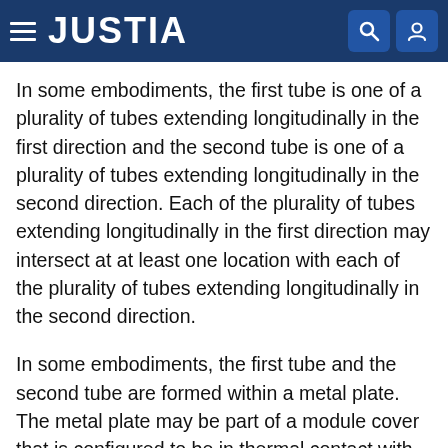JUSTIA
In some embodiments, the first tube is one of a plurality of tubes extending longitudinally in the first direction and the second tube is one of a plurality of tubes extending longitudinally in the second direction. Each of the plurality of tubes extending longitudinally in the first direction may intersect at at least one location with each of the plurality of tubes extending longitudinally in the second direction.
In some embodiments, the first tube and the second tube are formed within a metal plate. The metal plate may be part of a module cover that is configured to be in thermal contact with an integrated circuit and/or processor. The module cover may also be in thermal contact with a card chassis. The integrated circuit and/or processor may be part of an avionics module.